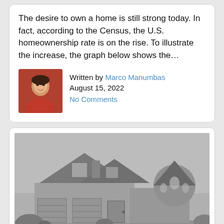The desire to own a home is still strong today. In fact, according to the Census, the U.S. homeownership rate is on the rise. To illustrate the increase, the graph below shows the...
Written by Marco Manumbas
August 15, 2022
No Comments
[Figure (photo): Grayscale photograph of a large two-story brick house with multiple gabled rooflines, a round turret on the right side, a three-car garage, and landscaping in the foreground.]